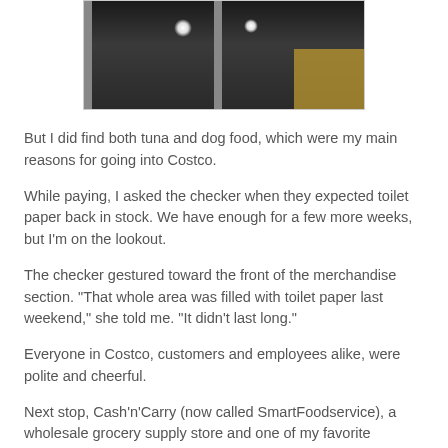[Figure (photo): Photo of commercial refrigerator/freezer units with glass doors in a Costco warehouse store, showing dark interior with overhead lights and some yellow merchandise visible.]
But I did find both tuna and dog food, which were my main reasons for going into Costco.
While paying, I asked the checker when they expected toilet paper back in stock. We have enough for a few more weeks, but I'm on the lookout.
The checker gestured toward the front of the merchandise section. "That whole area was filled with toilet paper last weekend," she told me. "It didn't last long."
Everyone in Costco, customers and employees alike, were polite and cheerful.
Next stop, Cash'n'Carry (now called SmartFoodservice), a wholesale grocery supply store and one of my favorite